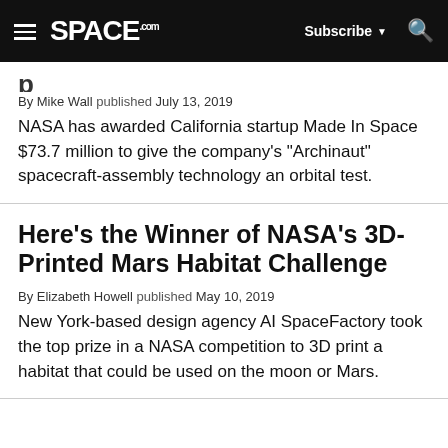SPACE.com — Subscribe — Search
By Mike Wall published July 13, 2019
NASA has awarded California startup Made In Space $73.7 million to give the company's "Archinaut" spacecraft-assembly technology an orbital test.
Here's the Winner of NASA's 3D-Printed Mars Habitat Challenge
By Elizabeth Howell published May 10, 2019
New York-based design agency AI SpaceFactory took the top prize in a NASA competition to 3D print a habitat that could be used on the moon or Mars.